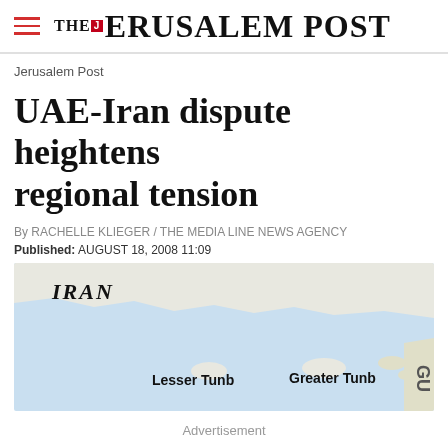THE JERUSALEM POST
Jerusalem Post
UAE-Iran dispute heightens regional tension
By RACHELLE KLIEGER / THE MEDIA LINE NEWS AGENCY
Published: AUGUST 18, 2008 11:09
[Figure (map): Map showing Iran and islands Lesser Tunb and Greater Tunb in the Gulf region]
Advertisement